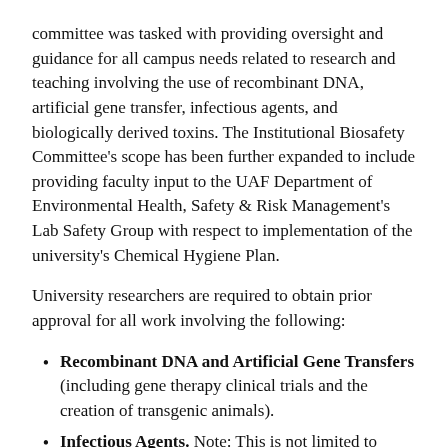committee was tasked with providing oversight and guidance for all campus needs related to research and teaching involving the use of recombinant DNA, artificial gene transfer, infectious agents, and biologically derived toxins. The Institutional Biosafety Committee’s scope has been further expanded to include providing faculty input to the UAF Department of Environmental Health, Safety & Risk Management’s Lab Safety Group with respect to implementation of the university’s Chemical Hygiene Plan.
University researchers are required to obtain prior approval for all work involving the following:
Recombinant DNA and Artificial Gene Transfers (including gene therapy clinical trials and the creation of transgenic animals).
Infectious Agents. Note: This is not limited to human infectious agents.
Biologically Derived Toxins. This includes any agent